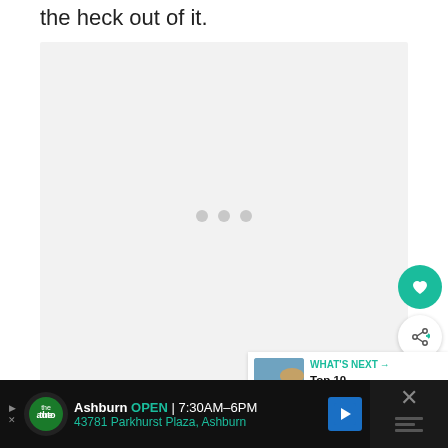the heck out of it.
[Figure (other): Large image placeholder area with three grey loading dots in the center, shown as a light grey rectangle]
[Figure (other): WHAT'S NEXT panel showing a thumbnail of an airplane at sunset with text 'Top 10 Destinations...']
If people only traveled to the iconic
Ashburn OPEN | 7:30AM–6PM
43781 Parkhurst Plaza, Ashburn